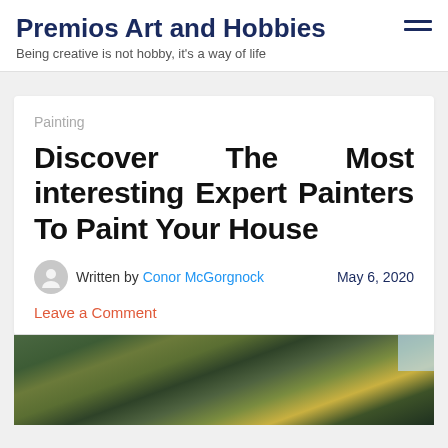Premios Art and Hobbies
Being creative is not hobby, it's a way of life
Painting
Discover The Most interesting Expert Painters To Paint Your House
Written by Conor McGorgnock    May 6, 2020
Leave a Comment
[Figure (photo): Painting artwork showing abstract green, yellow and dark brush strokes]